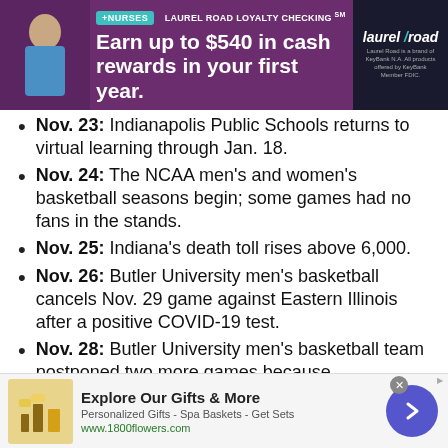[Figure (illustration): Advertisement banner for Laurel Road Loyalty Checking showing nurse theme with purple background, 'Earn up to $540 in cash rewards in your first year.' text, and Laurel Road logo on dark right panel.]
Nov. 23: Indianapolis Public Schools returns to virtual learning through Jan. 18.
Nov. 24: The NCAA men's and women's basketball seasons begin; some games had no fans in the stands.
Nov. 25: Indiana's death toll rises above 6,000.
Nov. 26: Butler University men's basketball cancels Nov. 29 game against Eastern Illinois after a positive COVID-19 test.
Nov. 28: Butler University men's basketball team postponed two more games because
[Figure (illustration): Advertisement banner for 1800flowers.com showing 'Explore Our Gifts & More', Personalized Gifts - Spa Baskets - Get Sets, www.1800flowers.com, with gift product image on left and purple arrow button on right.]